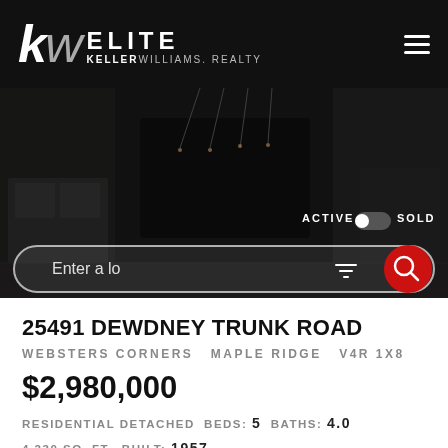kw ELITE KELLERWILLIAMS. REALTY
[Figure (screenshot): Dark interior room photo used as hero background for real estate listing search page]
ACTIVE   SOLD
Enter a lo
25491 DEWDNEY TRUNK ROAD
WEBSTERS CORNERS   MAPLE RIDGE   V4R 1X8
$2,980,000
RESIDENTIAL DETACHED  BEDS: 5  BATHS: 4.0  4,230 SQ. FT.  BUILT: 1957